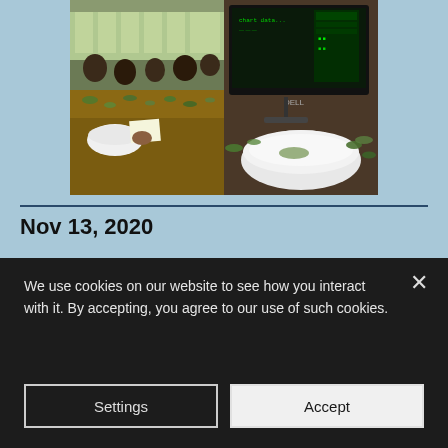[Figure (photo): Split composite photo: left side shows people at wooden desks sorting green items (tea leaves?) in a hall; right side shows a white bowl on a surface with green leaves and a Dell computer monitor in background.]
Nov 13, 2020
[Figure (screenshot): Video player area with dark background, three-dot menu icon in top right, and a video thumbnail showing a close-up of a bowl with green leaves and a yellow/red badge logo in the bottom right corner.]
We use cookies on our website to see how you interact with it. By accepting, you agree to our use of such cookies.